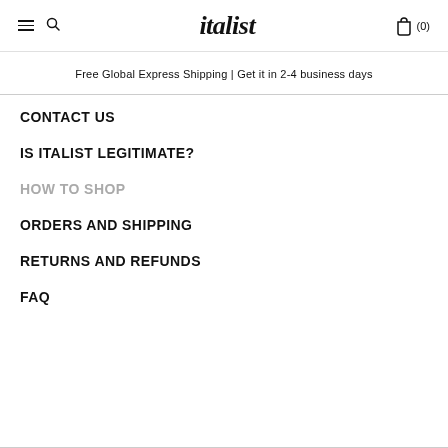italist (0)
Free Global Express Shipping | Get it in 2-4 business days
CONTACT US
IS ITALIST LEGITIMATE?
HOW TO SHOP
ORDERS AND SHIPPING
RETURNS AND REFUNDS
FAQ